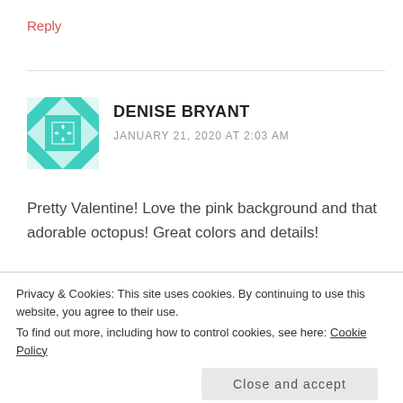Reply
[Figure (illustration): Teal/green geometric quilt-pattern avatar for user Denise Bryant]
DENISE BRYANT
JANUARY 21, 2020 AT 2:03 AM
Pretty Valentine! Love the pink background and that adorable octopus! Great colors and details!
★ Like
Reply
Privacy & Cookies: This site uses cookies. By continuing to use this website, you agree to their use.
To find out more, including how to control cookies, see here: Cookie Policy
Close and accept